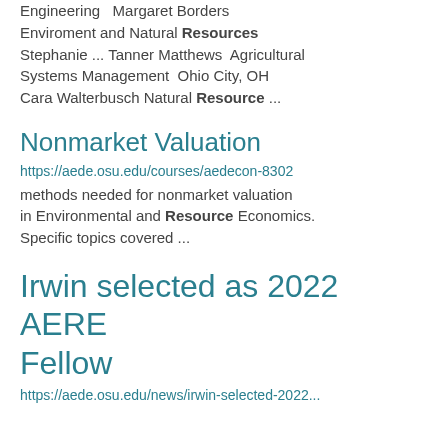Engineering  Margaret Borders Enviroment and Natural Resources Stephanie ... Tanner Matthews  Agricultural Systems Management  Ohio City, OH Cara Walterbusch Natural Resource ...
Nonmarket Valuation
https://aede.osu.edu/courses/aedecon-8302
methods needed for nonmarket valuation in Environmental and Resource Economics. Specific topics covered ...
Irwin selected as 2022 AERE Fellow
https://aede.osu.edu/news/irwin-selected-2022...